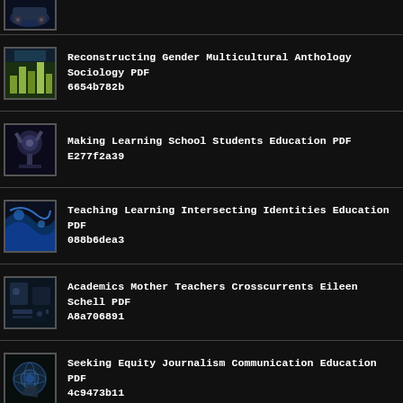[Figure (photo): Partial thumbnail of a dark vehicle/robot image at top]
Reconstructing Gender Multicultural Anthology Sociology PDF 6654b782b
Making Learning School Students Education PDF E277f2a39
Teaching Learning Intersecting Identities Education PDF 088b6dea3
Academics Mother Teachers Crosscurrents Eileen Schell PDF A8a706891
Seeking Equity Journalism Communication Education PDF 4c9473b11